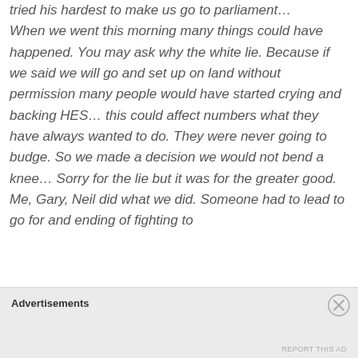tried his hardest to make us go to parliament… When we went this morning many things could have happened. You may ask why the white lie. Because if we said we will go and set up on land without permission many people would have started crying and backing HES… this could affect numbers what they have always wanted to do. They were never going to budge. So we made a decision we would not bend a knee… Sorry for the lie but it was for the greater good. Me, Gary, Neil did what we did. Someone had to lead to go for and ending of fighting to...
Advertisements